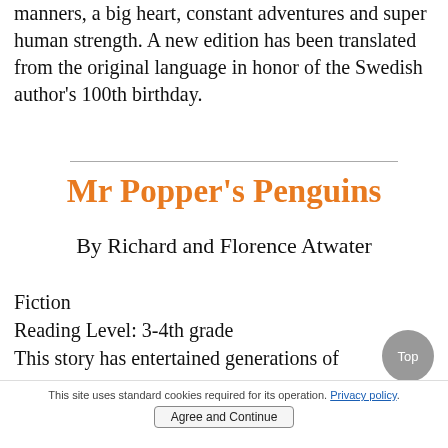manners, a big heart, constant adventures and super human strength. A new edition has been translated from the original language in honor of the Swedish author's 100th birthday.
Mr Popper's Penguins
By Richard and Florence Atwater
Fiction
Reading Level: 3-4th grade
This story has entertained generations of children...
This site uses standard cookies required for its operation. Privacy policy. Agree and Continue